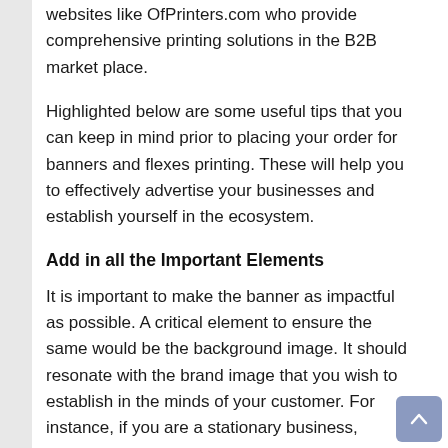websites like OfPrinters.com who provide comprehensive printing solutions in the B2B market place.
Highlighted below are some useful tips that you can keep in mind prior to placing your order for banners and flexes printing. These will help you to effectively advertise your businesses and establish yourself in the ecosystem.
Add in all the Important Elements
It is important to make the banner as impactful as possible. A critical element to ensure the same would be the background image. It should resonate with the brand image that you wish to establish in the minds of your customer. For instance, if you are a stationary business,